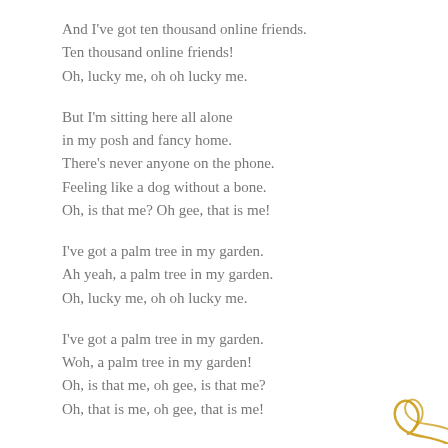And I've got ten thousand online friends.
Ten thousand online friends!
Oh, lucky me, oh oh lucky me.

But I'm sitting here all alone
in my posh and fancy home.
There's never anyone on the phone.
Feeling like a dog without a bone.
Oh, is that me? Oh gee, that is me!

I've got a palm tree in my garden.
Ah yeah, a palm tree in my garden.
Oh, lucky me, oh oh lucky me.

I've got a palm tree in my garden.
Woh, a palm tree in my garden!
Oh, is that me, oh gee, is that me?
Oh, that is me, oh gee, that is me!
[Figure (illustration): Decorative golden swirl/curl design in bottom-right corner]